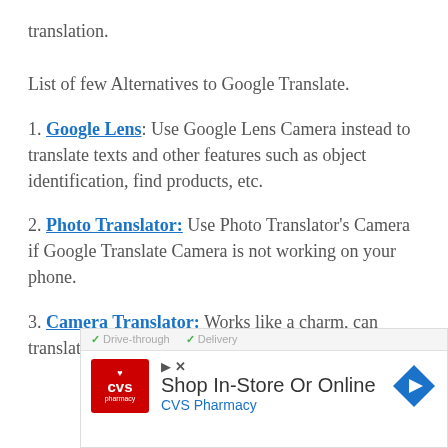translation.
List of few Alternatives to Google Translate.
1. Google Lens: Use Google Lens Camera instead to translate texts and other features such as object identification, find products, etc.
2. Photo Translator: Use Photo Translator's Camera if Google Translate Camera is not working on your phone.
3. Camera Translator: Works like a charm, can translate
[Figure (screenshot): Advertisement banner showing CVS Pharmacy 'Shop In-Store Or Online' ad with Drive-through and Delivery options, CVS logo, navigation icon, play/close icons.]